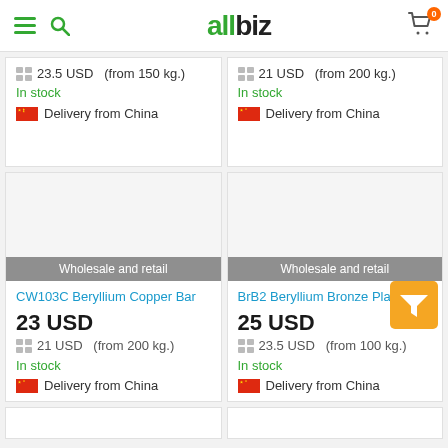allbiz
23.5 USD  (from 150 kg.)
In stock
Delivery from China
21 USD  (from 200 kg.)
In stock
Delivery from China
Wholesale and retail
CW103C Beryllium Copper Bar
23 USD
21 USD  (from 200 kg.)
In stock
Delivery from China
Wholesale and retail
BrB2 Beryllium Bronze Plate
25 USD
23.5 USD  (from 100 kg.)
In stock
Delivery from China